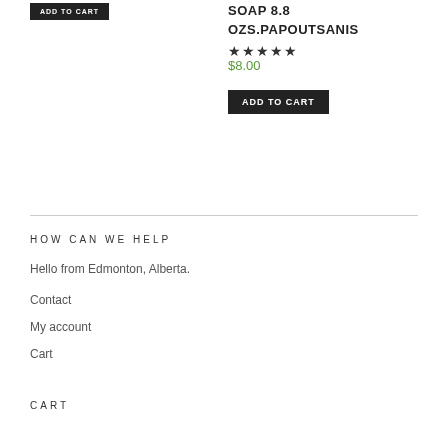ADD TO CART
SOAP 8.8 OZS.PAPOUTSANIS
★★★★★
$8.00
ADD TO CART
HOW CAN WE HELP
Hello from Edmonton, Alberta.
Contact
My account
Cart
CART